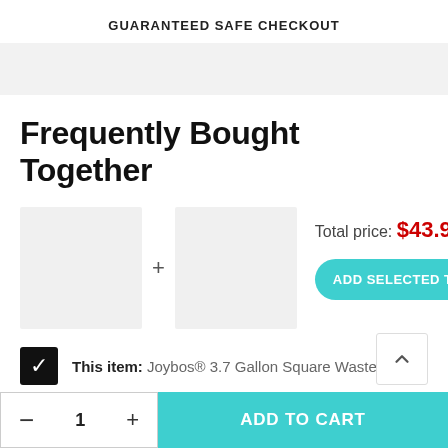GUARANTEED SAFE CHECKOUT
[Figure (other): Guaranteed safe checkout payment icons bar (light gray background strip)]
Frequently Bought Together
[Figure (other): Two product thumbnail image placeholders with a plus sign between them]
Total price: $43.90
ADD SELECTED TO CART
This item: Joybos® 3.7 Gallon Square Waste Basket
ADD TO CART